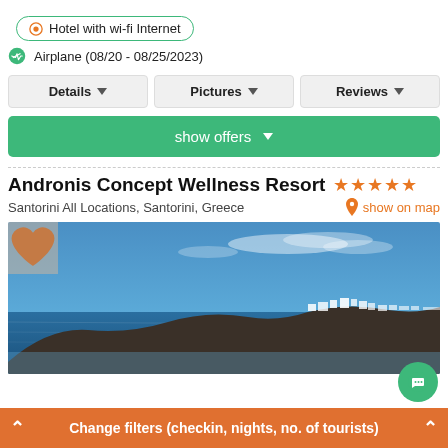Hotel with wi-fi Internet
Airplane (08/20 - 08/25/2023)
Details | Pictures | Reviews
show offers
Andronis Concept Wellness Resort ★★★★★
Santorini All Locations, Santorini, Greece   show on map
[Figure (photo): Panoramic view of Santorini caldera with blue sea, white buildings on cliffs, and clear blue sky]
Change filters (checkin, nights, no. of tourists)